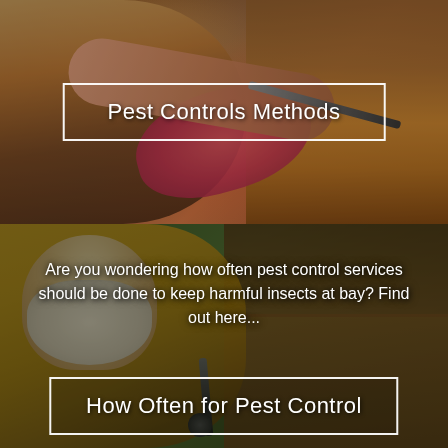[Figure (photo): Person in casual clothing using a pest control tool/sprayer near a wooden door or surface, photo with warm brown tones]
Pest Controls Methods
[Figure (photo): Person in yellow protective suit with white beard holding a pest control sprayer near wooden structure, blurred green background]
Are you wondering how often pest control services should be done to keep harmful insects at bay? Find out here...
How Often for Pest Control